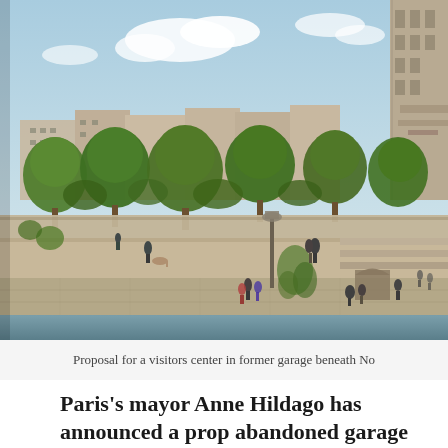[Figure (photo): Outdoor scene showing a riverside walkway near Notre-Dame cathedral in Paris. People are walking along a stone quay with steps leading down toward the Seine river. Large green trees line the upper level, and historic Haussmann-style buildings are visible in the background. A tall Gothic tower (likely Notre-Dame) appears on the upper right. The image has a slightly colorized or vintage photographic quality.]
Proposal for a visitors center in former garage beneath No
Paris's mayor Anne Hildago has announced a prop abandoned garage beneath Notre-Dame cathedra